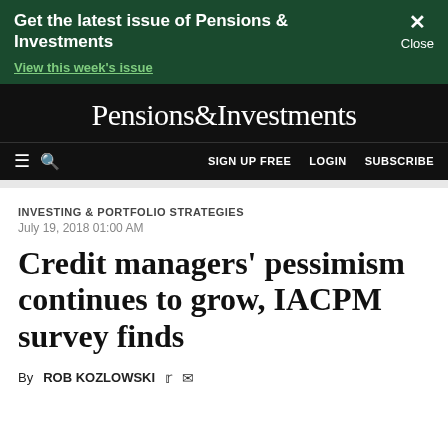Get the latest issue of Pensions & Investments
View this week's issue
Pensions&Investments
SIGN UP FREE  LOGIN  SUBSCRIBE
INVESTING & PORTFOLIO STRATEGIES
July 19, 2018 01:00 AM
Credit managers' pessimism continues to grow, IACPM survey finds
By ROB KOZLOWSKI